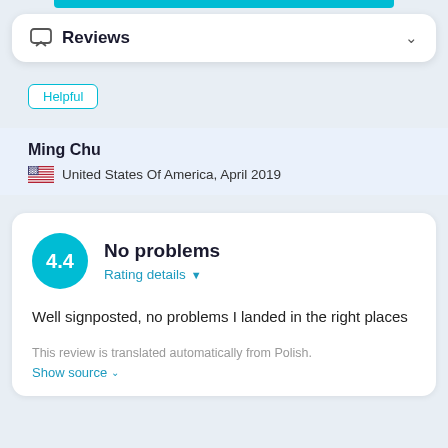Reviews
Helpful
Ming Chu
United States Of America, April 2019
No problems
Rating details
Well signposted, no problems I landed in the right places
This review is translated automatically from Polish.
Show source